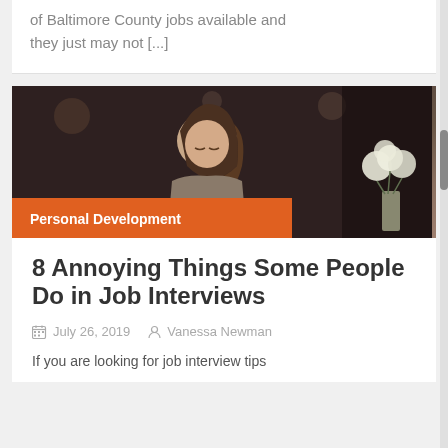of Baltimore County jobs available and they just may not [...]
[Figure (photo): A young woman looking down, photographed in a dimly lit indoor setting with a vase of white flowers visible in the background]
Personal Development
8 Annoying Things Some People Do in Job Interviews
July 26, 2019   Vanessa Newman
If you are looking for job interview tips...